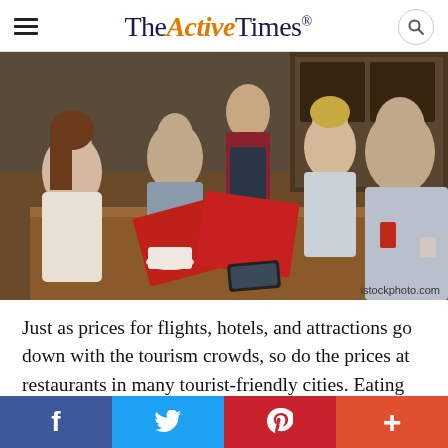TheActiveTimes
[Figure (photo): Group of people at a restaurant table being served by a waiter in an apron, looking at red menus. Coffee cup, phone on wooden table.]
istockphoto.com
Just as prices for flights, hotels, and attractions go down with the tourism crowds, so do the prices at restaurants in many tourist-friendly cities. Eating out can be expensive, so it's a great
f  Twitter  p  +